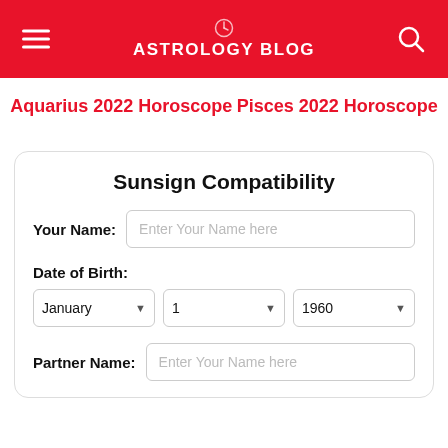ASTROLOGY BLOG
Aquarius 2022 Horoscope
Pisces 2022 Horoscope
Sunsign Compatibility
Your Name: Enter Your Name here
Date of Birth:
January | 1 | 1960
Partner Name: Enter Your Name here